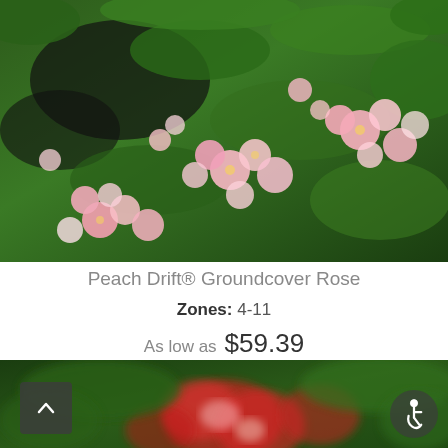[Figure (photo): Close-up photo of Peach Drift groundcover rose with many pink and peach blooms against dark green foliage and mulch]
Peach Drift® Groundcover Rose
Zones: 4-11
As low as  $59.39
[Figure (photo): Close-up blurred photo of red/coral Drift rose blooms with dark green foliage background]